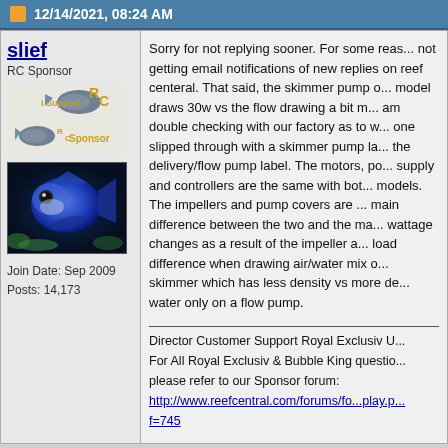12/14/2021, 08:24 AM
slief
RC Sponsor
[Figure (logo): RC I Support / RC Sponsor logos with fish graphic]
[Figure (photo): Close-up photo of a blue fish (possibly a tang or damsel) against coral reef background]
Join Date: Sep 2009
Posts: 14,173
Sorry for not replying sooner. For some reason not getting email notifications of new replies on reef centeral. That said, the skimmer pump on our model draws 30w vs the flow drawing a bit more. I am double checking with our factory as to whether one slipped through with a skimmer pump label vs the delivery/flow pump label. The motors, power supply and controllers are the same with both models. The impellers and pump covers are the main difference between the two and the main wattage changes as a result of the impeller and load difference when drawing air/water mix on a skimmer which has less density vs more dense water only on a flow pump.
Director Customer Support Royal Exclusiv U...
For All Royal Exclusiv & Bubble King questions please refer to our Sponsor forum:
http://www.reefcentral.com/forums/fo...play.p...f=745
Current Tank Info: 480G display mixed reef, sump, 90G refugium, 60G display refugium. Check out my build thread:
http://www.reefcentral.com/forums/showthre...t=1783476